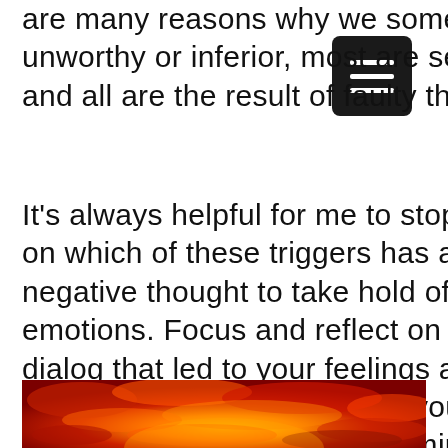[Figure (other): Black rounded rectangle menu button with three white horizontal lines (hamburger menu icon)]
are many reasons why we sometimes feel unworthy or inferior, most are self-declared and all are the result of faulty thinking.
It's always helpful for me to stop and reflect on which of these triggers has allowed a negative thought to take hold of my emotions. Focus and reflect on the inner dialog that led to your feelings and with practice, you can often think your way back out of an unhealthy frame of mind.
[Figure (photo): A dramatic fiery sunset sky with vivid orange, red, and yellow clouds]